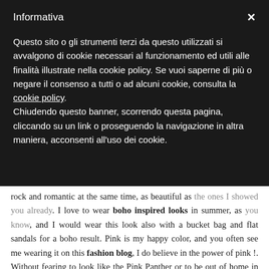Informativa
Questo sito o gli strumenti terzi da questo utilizzati si avvalgono di cookie necessari al funzionamento ed utili alle finalità illustrate nella cookie policy. Se vuoi saperne di più o negare il consenso a tutti o ad alcuni cookie, consulta la cookie policy. Chiudendo questo banner, scorrendo questa pagina, cliccando su un link o proseguendo la navigazione in altra maniera, acconsenti all'uso dei cookie.
rock and romantic at the same time, as beautiful as the ones I showed you already. I love to wear boho inspired looks in summer, as you know, and I would wear this look also with a bucket bag and flat sandals for a boho result. Pink is my happy color, and you often see me wearing it on this fashion blog, I do believe in the power of pink !. Without fearing to look like the Pink Panther or to be out of home in my night gown, I admired the sunset from the beach, it's one of my favorite things to do. I love to spend time by the sea, and this reminds me that there is a wonderful competition called #fugaromantica to win two days in wonderful and romantic Amalfi for ten lucky winners, up until July 30th, and you find everything on Luca Barra Website. I wish you all a